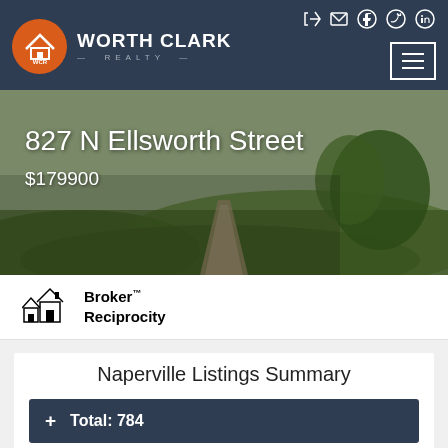[Figure (logo): Worth Clark Realty logo with orange circle and WCR text, navigation bar with social icons and hamburger menu]
[Figure (photo): Exterior property photo showing grass and walkway for 827 N Ellsworth Street]
827 N Ellsworth Street
$179900
[Figure (logo): Broker Reciprocity logo with house icon]
Naperville Listings Summary
Total: 784
New: 39